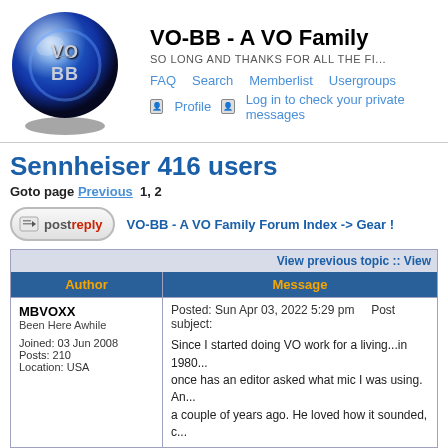[Figure (logo): VO-BB blue sphere logo with VO-BB text]
VO-BB - A VO Family Forum Index
SO LONG AND THANKS FOR ALL THE FI...
FAQ  Search  Memberlist  Usergroups
Profile  Log in to check your private messages
Sennheiser 416 users
Goto page Previous  1, 2
postreply   VO-BB - A VO Family Forum Index -> Gear !
| Author | Message |
| --- | --- |
| View previous topic :: View |  |
| MBVOXX
Been Here Awhile

Joined: 03 Jun 2008
Posts: 210
Location: USA | Posted: Sun Apr 03, 2022 5:29 pm    Post subject:

Since I started doing VO work for a living...in 1980... not once has an editor asked what mic I was using. An... a couple of years ago. He loved how it sounded, c... ... |